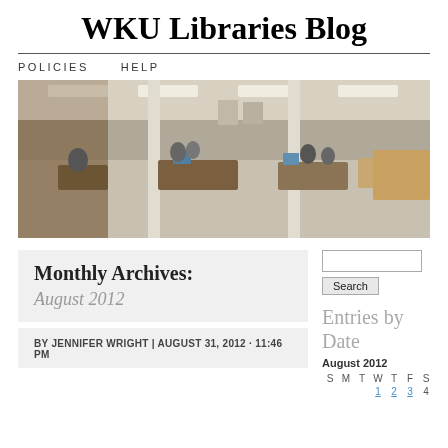WKU Libraries Blog
POLICIES   HELP
[Figure (photo): Panoramic photo of a library interior with students studying at tables and computers, under fluorescent ceiling lights.]
Monthly Archives:
August 2012
BY JENNIFER WRIGHT | AUGUST 31, 2012 · 11:46 PM
[Figure (other): Search input box and Search button]
Entries by Date
August 2012
| S | M | T | W | T | F | S |
| --- | --- | --- | --- | --- | --- | --- |
|  |  |  | 1 | 2 | 3 | 4 |